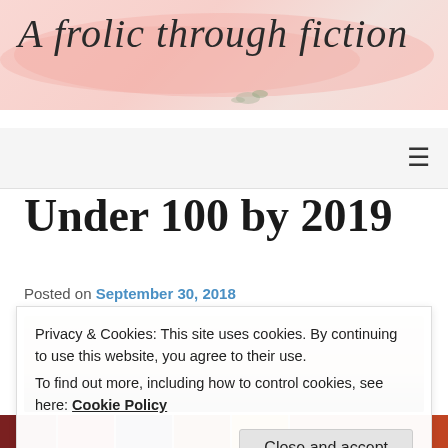A frolic through fiction
[Figure (screenshot): Blog navigation bar with hamburger menu icon on the right]
Under 100 by 2019
Posted on September 30, 2018
[Figure (photo): Partial photo of books or lifestyle image]
Privacy & Cookies: This site uses cookies. By continuing to use this website, you agree to their use.
To find out more, including how to control cookies, see here: Cookie Policy
Close and accept
[Figure (photo): Row of book spines at the bottom of the page]